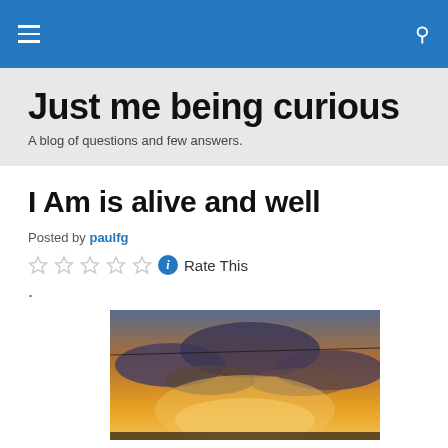Navigation bar with menu icon and search icon
Just me being curious
A blog of questions and few answers.
I Am is alive and well
Posted by paulfg
Rate This
.
[Figure (photo): A sunset sky with dramatic clouds illuminated in orange and yellow tones]